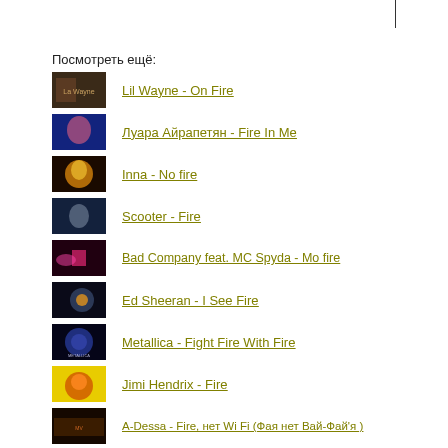Посмотреть ещё:
Lil Wayne - On Fire
Луара Айрапетян - Fire In Me
Inna - No fire
Scooter - Fire
Bad Company feat. MC Spyda - Mo fire
Ed Sheeran - I See Fire
Metallica - Fight Fire With Fire
Jimi Hendrix - Fire
A-Dessa - Fire, нет Wi Fi (Фая нет Вай-Фай'я )